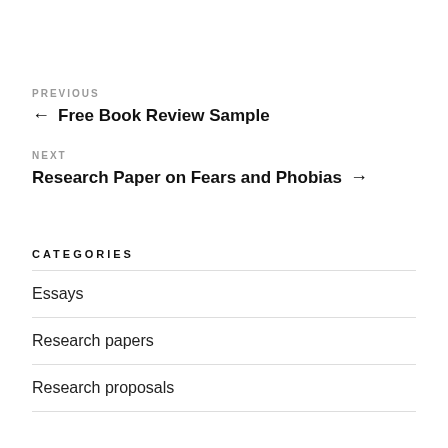PREVIOUS
← Free Book Review Sample
NEXT
Research Paper on Fears and Phobias →
CATEGORIES
Essays
Research papers
Research proposals